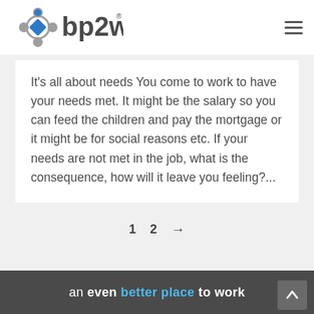bp2w logo and navigation
It's all about needs You come to work to have your needs met. It might be the salary so you can feed the children and pay the mortgage or it might be for social reasons etc. If your needs are not met in the job, what is the consequence, how will it leave you feeling?...
an even better place to work
1  2  →